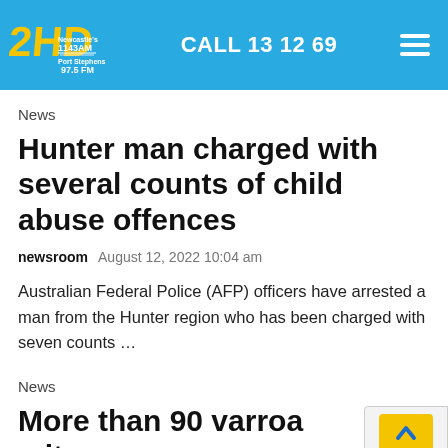2HD Newcastle's 1143AM Port Stephens 97.5FM | CALL 13 12 69
News
Hunter man charged with several counts of child abuse offences
newsroom  August 12, 2022 10:04 am
Australian Federal Police (AFP) officers have arrested a man from the Hunter region who has been charged with seven counts …
News
More than 90 varroa mite